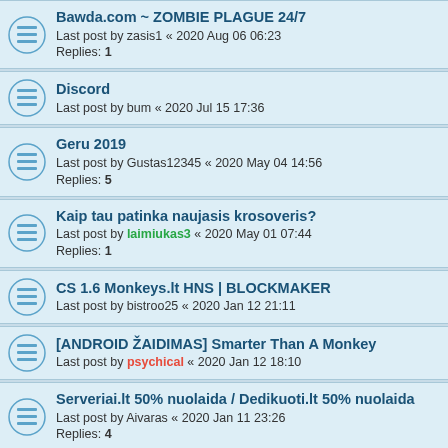Bawda.com ~ ZOMBIE PLAGUE 24/7
Last post by zasis1 « 2020 Aug 06 06:23
Replies: 1
Discord
Last post by bum « 2020 Jul 15 17:36
Geru 2019
Last post by Gustas12345 « 2020 May 04 14:56
Replies: 5
Kaip tau patinka naujasis krosoveris?
Last post by laimiukas3 « 2020 May 01 07:44
Replies: 1
CS 1.6 Monkeys.lt HNS | BLOCKMAKER
Last post by bistroo25 « 2020 Jan 12 21:11
[ANDROID ŽAIDIMAS] Smarter Than A Monkey
Last post by psychical « 2020 Jan 12 18:10
Serveriai.lt 50% nuolaida / Dedikuoti.lt 50% nuolaida
Last post by Aivaras « 2020 Jan 11 23:26
Replies: 4
Geriausias serveris
Last post by fromtoo « 2019 Dec 31 11:58
SAKG.LT - San Andreas Kaimelių Gyvenimas
Last post by laimiukas3 « 2019 Dec 29 18:09
Replies: 5
Ieskau scripterio
Last post by laimiukas3 « 2019 Dec 21 16:33